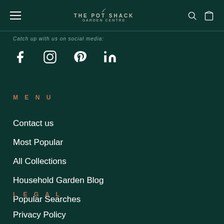The Pot Shack Garden Centre — navigation header with hamburger menu, logo, search and cart icons
Catch up with us on social media:
[Figure (illustration): Social media icons: Facebook, Instagram, Pinterest, LinkedIn]
MENU
Contact us
Most Popular
All Collections
Household Garden Blog
Popular Searches
LEGAL
Privacy Policy